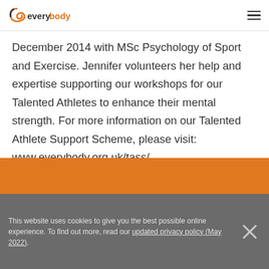everybody [logo] [hamburger menu]
December 2014 with MSc Psychology of Sport and Exercise. Jennifer volunteers her help and expertise supporting our workshops for our Talented Athletes to enhance their mental strength. For more information on our Talented Athlete Support Scheme, please visit: www.everybody.org.uk/tass/
[Figure (other): Orange decorative footer band]
This website uses cookies to give you the best possible online experience. To find out more, read our updated privacy policy (May 2022).